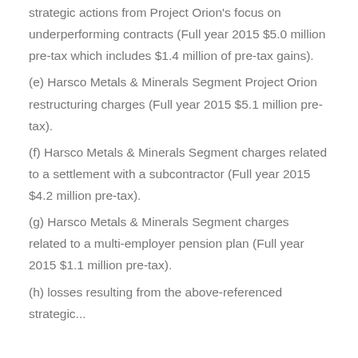strategic actions from Project Orion's focus on underperforming contracts (Full year 2015 $5.0 million pre-tax which includes $1.4 million of pre-tax gains).
(e) Harsco Metals & Minerals Segment Project Orion restructuring charges (Full year 2015 $5.1 million pre-tax).
(f) Harsco Metals & Minerals Segment charges related to a settlement with a subcontractor (Full year 2015 $4.2 million pre-tax).
(g) Harsco Metals & Minerals Segment charges related to a multi-employer pension plan (Full year 2015 $1.1 million pre-tax).
(h) losses resulting from the above-referenced strategic...